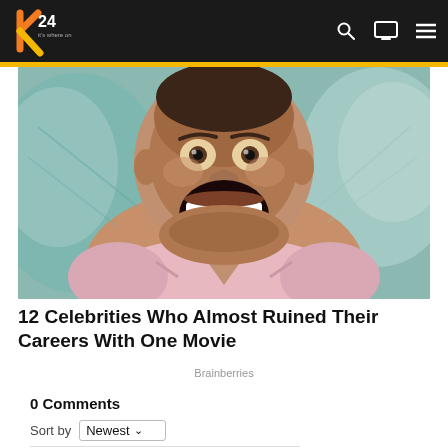[Figure (logo): K24 television network logo with orange/yellow K and white 24 text on dark background]
[Figure (photo): Celebrity man dressed in pink fairy costume with wings, wide open mouth smiling/laughing, used as hero image for article about celebrities who ruined careers with one movie]
12 Celebrities Who Almost Ruined Their Careers With One Movie
Brainberries
0 Comments
Sort by Newest